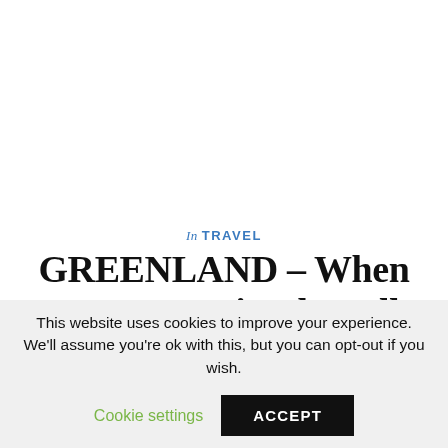In TRAVEL
GREENLAND – When you want a simple walk and you get to train like the sherpas :)
28 March 2020
This website uses cookies to improve your experience. We'll assume you're ok with this, but you can opt-out if you wish.
Cookie settings  ACCEPT